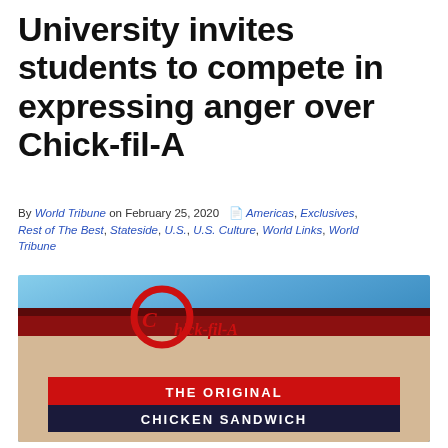University invites students to compete in expressing anger over Chick-fil-A
By World Tribune on February 25, 2020  Americas, Exclusives, Rest of The Best, Stateside, U.S., U.S. Culture, World Links, World Tribune
[Figure (photo): Exterior photo of a Chick-fil-A restaurant showing the branded sign reading 'Chick-fil-A THE ORIGINAL CHICKEN SANDWICH' against a blue sky background]